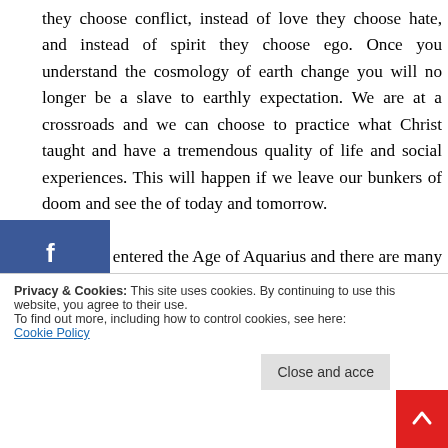they choose conflict, instead of love they choose hate, and instead of spirit they choose ego. Once you understand the cosmology of earth change you will no longer be a slave to earthly expectation. We are at a crossroads and we can choose to practice what Christ taught and have a tremendous quality of life and social experiences. This will happen if we leave our bunkers of doom and see the of today and tomorrow.
Earth just entered the Age of Aquarius and there are many Biblical signs yet to be fulfilled. I do believe we have on our side especially since the Most High has slowed
Privacy & Cookies: This site uses cookies. By continuing to use this website, you agree to their use. To find out more, including how to control cookies, see here: Cookie Policy
Close and acce